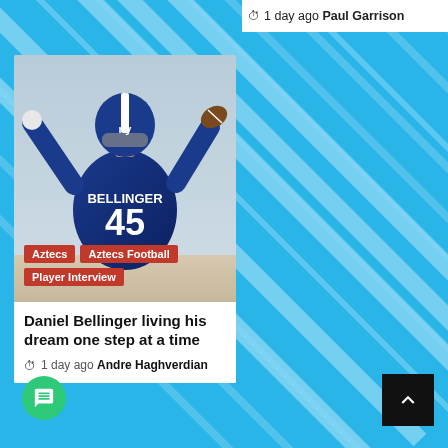1 day ago  Paul Garrison
[Figure (photo): Football player wearing New York Giants #45 BELLINGER jersey, arms raised, viewed from behind, celebrating]
Aztecs  Aztecs Football  Player Interview
Daniel Bellinger living his dream one step at a time
1 day ago  Andre Haghverdian